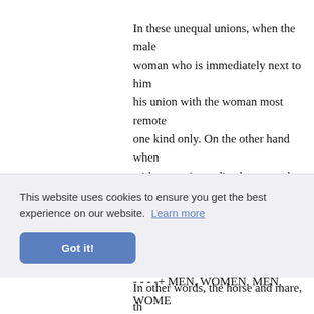In these unequal unions, when the male woman who is immediately next to him his union with the woman most remote one kind only. On the other hand when with a man immediately next to her in s union with a man most remote from he only.
In other words, the horse and mare, th and deer form the highest union. On the form low unions, while the elephant an
Th... union acc itive deg them the
union a
- - - -+ MEN, WOMEN, MEN, WOME
[Figure (screenshot): Cookie consent banner with text 'This website uses cookies to ensure you get the best experience on our website. Learn more' and a 'Got it!' button]